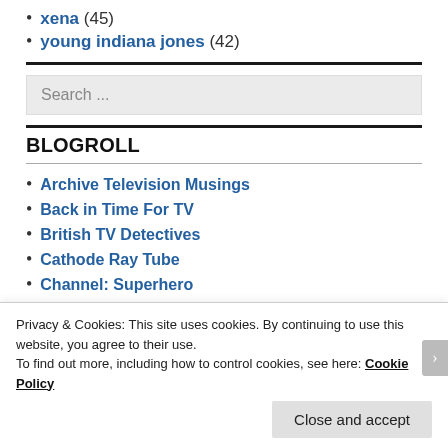xena (45)
young indiana jones (42)
BLOGROLL
Archive Television Musings
Back in Time For TV
British TV Detectives
Cathode Ray Tube
Channel: Superhero
Privacy & Cookies: This site uses cookies. By continuing to use this website, you agree to their use.
To find out more, including how to control cookies, see here: Cookie Policy